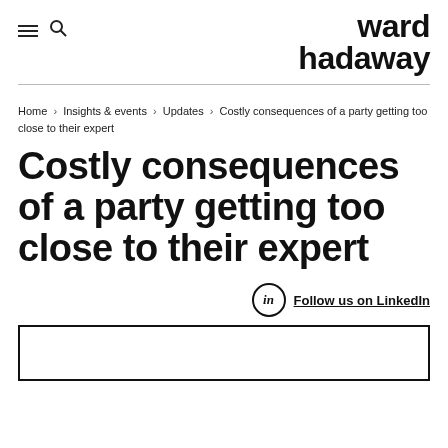ward hadaway
Home › Insights & events › Updates › Costly consequences of a party getting too close to their expert
Costly consequences of a party getting too close to their expert
Follow us on LinkedIn